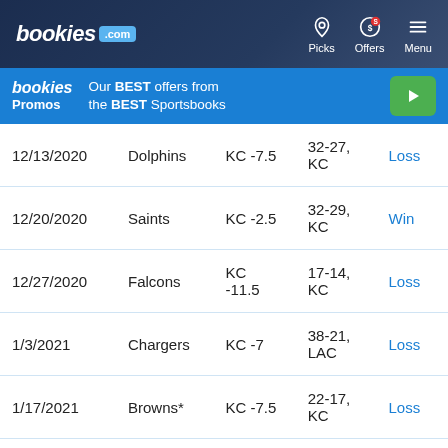bookies.com — Picks | Offers | Menu
[Figure (infographic): bookies.com navigation header with Picks, Offers, and Menu icons on dark navy background]
bookies Promos — Our BEST offers from the BEST Sportsbooks
| Date | Opponent | Spread | Score | Result |
| --- | --- | --- | --- | --- |
| 12/13/2020 | Dolphins | KC -7.5 | 32-27, KC | Loss |
| 12/20/2020 | Saints | KC -2.5 | 32-29, KC | Win |
| 12/27/2020 | Falcons | KC -11.5 | 17-14, KC | Loss |
| 1/3/2021 | Chargers | KC -7 | 38-21, LAC | Loss |
| 1/17/2021 | Browns* | KC -7.5 | 22-17, KC | Loss |
| 1/24/2021 | Bills# | KC -3 | 38-24, | Win |